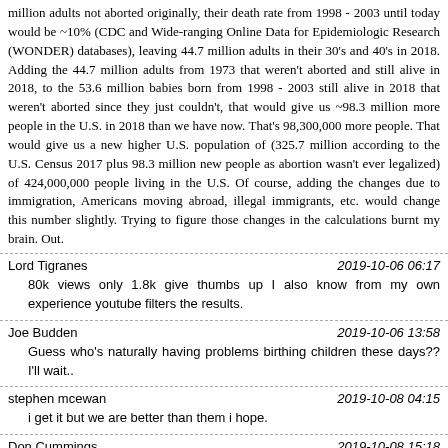million adults not aborted originally, their death rate from 1998 - 2003 until today would be ~10% (CDC and Wide-ranging Online Data for Epidemiologic Research (WONDER) databases), leaving 44.7 million adults in their 30's and 40's in 2018. Adding the 44.7 million adults from 1973 that weren't aborted and still alive in 2018, to the 53.6 million babies born from 1998 - 2003 still alive in 2018 that weren't aborted since they just couldn't, that would give us ~98.3 million more people in the U.S. in 2018 than we have now. That's 98,300,000 more people. That would give us a new higher U.S. population of (325.7 million according to the U.S. Census 2017 plus 98.3 million new people as abortion wasn't ever legalized) of 424,000,000 people living in the U.S. Of course, adding the changes due to immigration, Americans moving abroad, illegal immigrants, etc. would change this number slightly. Trying to figure those changes in the calculations burnt my brain. Out.
Lord Tigranes — 2019-10-06 06:17
80k views only 1.8k give thumbs up I also know from my own experience youtube filters the results.
Joe Budden — 2019-10-06 13:58
Guess who's naturally having problems birthing children these days?? I'll wait..
stephen mcewan — 2019-10-08 04:15
i get it but we are better than them i hope.
Don Cummings — 2019-10-08 15:18